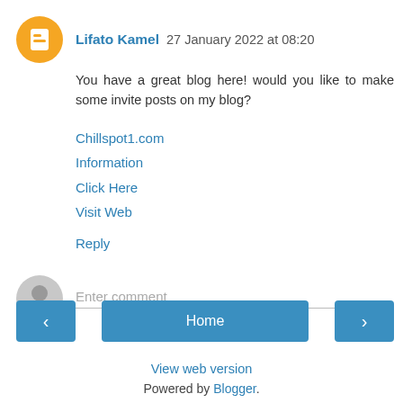Lifato Kamel 27 January 2022 at 08:20
You have a great blog here! would you like to make some invite posts on my blog?
Chillspot1.com
Information
Click Here
Visit Web
Reply
Enter comment
Home
View web version
Powered by Blogger.